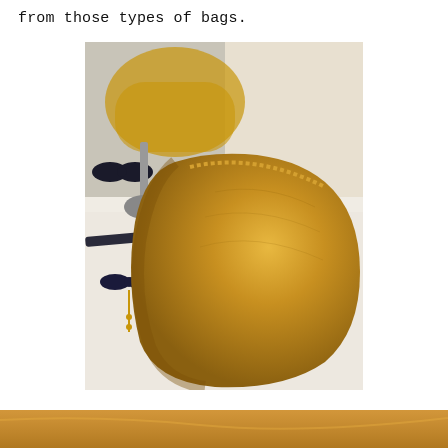from those types of bags.
[Figure (photo): Close-up photograph of a gold metallic cosmetic bag with a zipper and gold coin zipper pull, placed on a white surface. A mirror reflection of another gold bag is visible in the background along with a black bow tie accessory.]
[Figure (photo): Partial view of another photograph at the bottom of the page, cropped.]